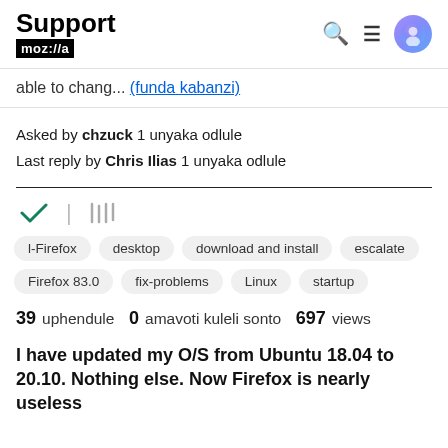Support mozilla//a
able to chang... (funda kabanzi)
Asked by chzuck 1 unyaka odlule
Last reply by Chris Ilias 1 unyaka odlule
[Figure (other): Green checkmark icon and library/bookmark icon]
l-Firefox
desktop
download and install
escalate
Firefox 83.0
fix-problems
Linux
startup
39 uphendule   0 amavoti kuleli sonto   697 views
I have updated my O/S from Ubuntu 18.04 to 20.10. Nothing else. Now Firefox is nearly useless